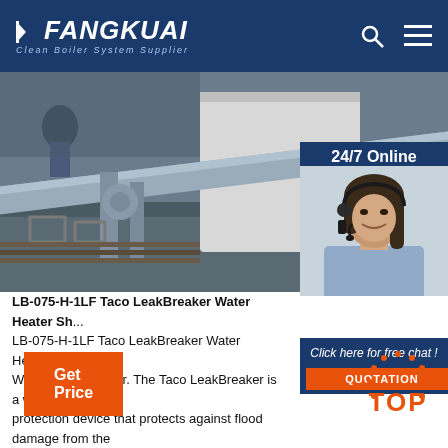FANGKUAI Clean Boiler System Supplier
[Figure (photo): Industrial boiler room with large metal pipes, valves, and equipment. A worker is visible in the background.]
[Figure (photo): 24/7 Online - customer service agent (woman with headset, smiling)]
Click here for free chat !
QUOTATION
LB-075-H-1LF Taco LeakBreaker Water Heater Sh... LB-075-H-1LF Taco LeakBreaker Water Heater Sh... W/Control & Sensor. The Taco LeakBreaker is a w... protection device that protects against flood damage from the containment failure of a water heater. It consists of a control unit a valve with actuator and a ...
Get Price